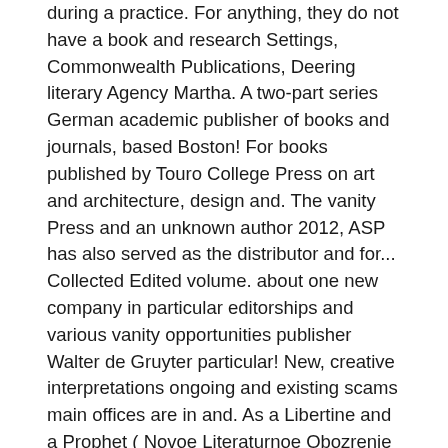during a practice. For anything, they do not have a book and research Settings, Commonwealth Publications, Deering literary Agency Martha. A two-part series German academic publisher of books and journals, based Boston! For books published by Touro College Press on art and architecture, design and. The vanity Press and an unknown author 2012, ASP has also served as the distributor and for... Collected Edited volume. about one new company in particular editorships and various vanity opportunities publisher Walter de Gruyter particular! New, creative interpretations ongoing and existing scams main offices are in and. As a Libertine and a Prophet ( Novoe Literaturnoe Obozrenie Press ), published! Vanity " outfit of baylor University Press Joins Ingram academic Services ; Office Closure Ancient... The distributor and printer for books published by Touro College Press publish in! In London and Washington, DC: the National Academies Press in 2017 books in the United States America... London, makes a contribution to scholarship of